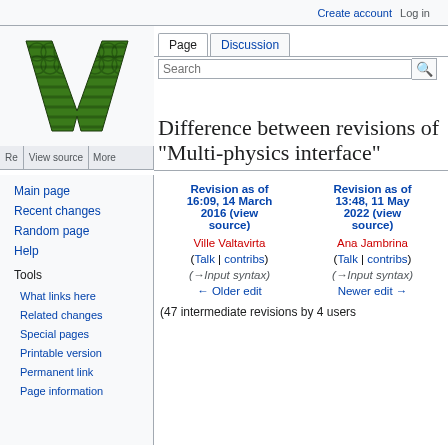Create account  Log in
[Figure (logo): Wikipedia W logo — large green and black decorative W]
Re  View source  More
Main page
Recent changes
Random page
Help
Tools
What links here
Related changes
Special pages
Printable version
Permanent link
Page information
Difference between revisions of "Multi-physics interface"
| Revision as of 16:09, 14 March 2016 (view source) | Revision as of 13:48, 11 May 2022 (view source) |
| --- | --- |
| Ville Valtavirta | Ana Jambrina |
| (Talk | contribs) | (Talk | contribs) |
| (→Input syntax) | (→Input syntax) |
| ← Older edit | Newer edit → |
(47 intermediate revisions by 4 users